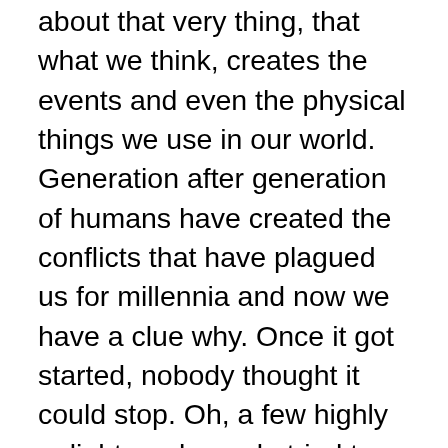about that very thing, that what we think, creates the events and even the physical things we use in our world. Generation after generation of humans have created the conflicts that have plagued us for millennia and now we have a clue why. Once it got started, nobody thought it could stop. Oh, a few highly enlightened people tried to show us the way, but we thought they were anomalies and we didn't follow their lead. We clung stubbornly to our old thought patterns because changing was too difficult.
So here we are. We've got scientific proof that what we think creates the events out in the world, and that we can change our thought patterns. The question is, will we do it? Will we get up off the couch, figuratively speaking, and